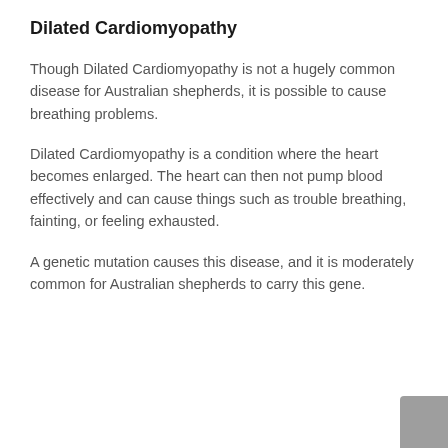Dilated Cardiomyopathy
Though Dilated Cardiomyopathy is not a hugely common disease for Australian shepherds, it is possible to cause breathing problems.
Dilated Cardiomyopathy is a condition where the heart becomes enlarged. The heart can then not pump blood effectively and can cause things such as trouble breathing, fainting, or feeling exhausted.
A genetic mutation causes this disease, and it is moderately common for Australian shepherds to carry this gene.